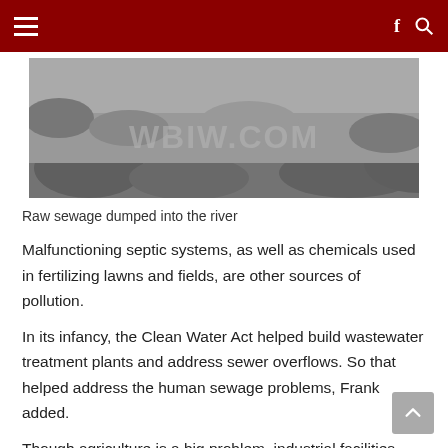≡  f 🔍
[Figure (photo): Black and white photo of raw sewage or debris dumped into a river, with watermark text WBIW.COM overlaid]
Raw sewage dumped into the river
Malfunctioning septic systems, as well as chemicals used in fertilizing lawns and fields, are other sources of pollution.
In its infancy, the Clean Water Act helped build wastewater treatment plants and address sewer overflows. So that helped address the human sewage problems, Frank added.
Though agriculture is a big problem, industrial facilities also share in the blame.